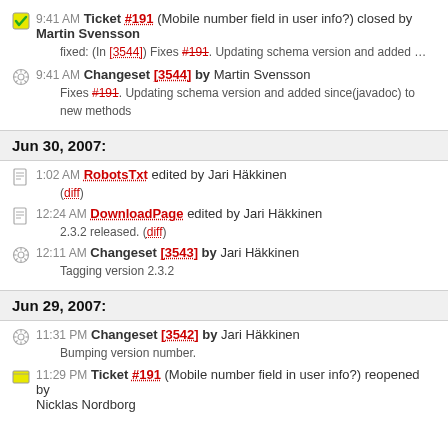9:41 AM Ticket #191 (Mobile number field in user info?) closed by Martin Svensson
fixed: (In [3544]) Fixes #191. Updating schema version and added …
9:41 AM Changeset [3544] by Martin Svensson
Fixes #191. Updating schema version and added since(javadoc) to new methods
Jun 30, 2007:
1:02 AM RobotsTxt edited by Jari Häkkinen
(diff)
12:24 AM DownloadPage edited by Jari Häkkinen
2.3.2 released. (diff)
12:11 AM Changeset [3543] by Jari Häkkinen
Tagging version 2.3.2
Jun 29, 2007:
11:31 PM Changeset [3542] by Jari Häkkinen
Bumping version number.
11:29 PM Ticket #191 (Mobile number field in user info?) reopened by Nicklas Nordborg